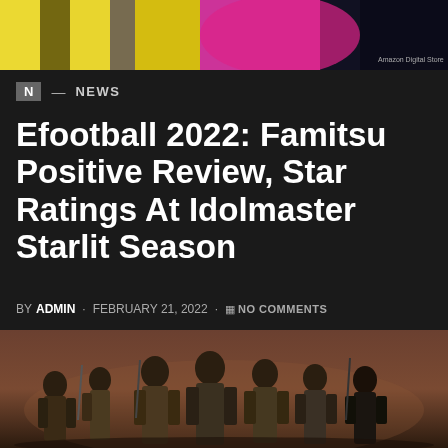[Figure (photo): Top banner image with colorful yellow, blue and pink graphic design elements]
N — NEWS
Efootball 2022: Famitsu Positive Review, Star Ratings At Idolmaster Starlit Season
BY ADMIN · FEBRUARY 21, 2022 · NO COMMENTS
While the rain of negative reviews on eFootball 2022 does not stop in the West, Japan has positive...
[Figure (photo): Group of military-style video game characters standing together, bottom of page]